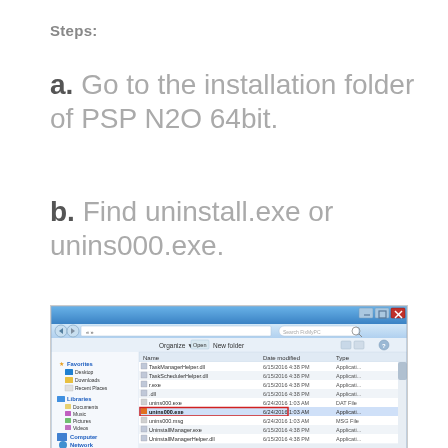Steps:
a. Go to the installation folder of PSP N2O 64bit.
b. Find uninstall.exe or unins000.exe.
[Figure (screenshot): Windows Explorer file browser showing installation folder contents with unins000.exe highlighted in a red box. Files listed include TaskManagerHelper.dll, TaskSchedulerHelper.dll, various .exe and .dll files, unins000.exe (highlighted), unins000.msg, UninstallManager.exe, UninstallManagerHelper.dll, vc100.bpl, vclei60.bpl, vcimg160.bpl, VolumesHelper.dll. Date modified column shows 6/15/2016 and 6/24/2016 dates. Left panel shows Favorites (Desktop, Downloads, Recent Places), Libraries (Documents, Music, Pictures, Videos), Computer, Network.]